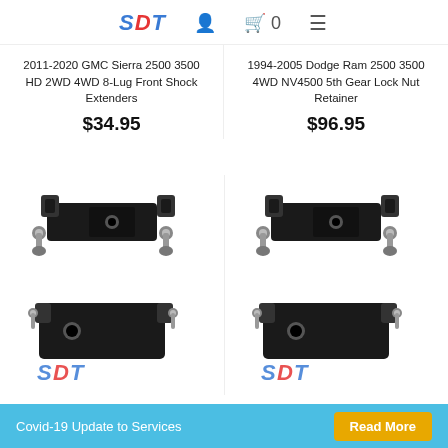SDT logo, user icon, cart (0), menu
2011-2020 GMC Sierra 2500 3500 HD 2WD 4WD 8-Lug Front Shock Extenders
$34.95
1994-2005 Dodge Ram 2500 3500 4WD NV4500 5th Gear Lock Nut Retainer
$96.95
[Figure (photo): Black metal shock extender hardware with bolts and brackets, left product]
[Figure (photo): Black metal shock extender hardware with bolts and brackets, right product]
Covid-19 Update to Services
Read More